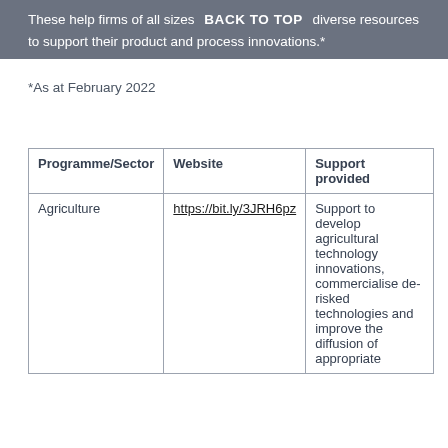These help firms of all sizes access diverse resources to support their product and process innovations.*
*As at February 2022
| Programme/Sector | Website | Support provided |
| --- | --- | --- |
| Agriculture | https://bit.ly/3JRH6pz | Support to develop agricultural technology innovations, commercialise de-risked technologies and improve the diffusion of appropriate |